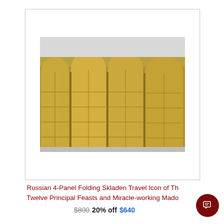[Figure (photo): A Russian 4-panel folding Skladen travel icon made of gilt brass/bronze, showing four arched panels decorated with religious scenes including the Twelve Principal Feasts and Miracle-working Madonnas.]
Russian 4-Panel Folding Skladen Travel Icon of The Twelve Principal Feasts and Miracle-working Madon...
$800  20% off  $640